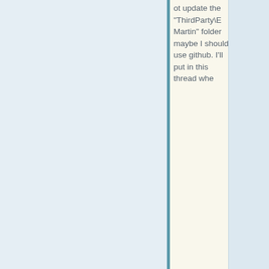ot update the "ThirdParty\EMartin" folder maybe I should use github. I'll put in this thread whe